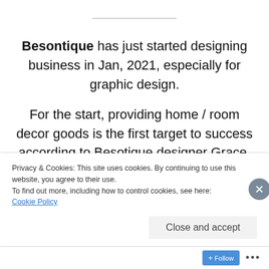Besontique has just started designing business in Jan, 2021, especially for graphic design. For the start, providing home / room decor goods is the first target to success according to Besotique designer Grace.
Nordic mood when you consider decorating home should be out of date by now. Now it is
Privacy & Cookies: This site uses cookies. By continuing to use this website, you agree to their use. To find out more, including how to control cookies, see here: Cookie Policy
Close and accept